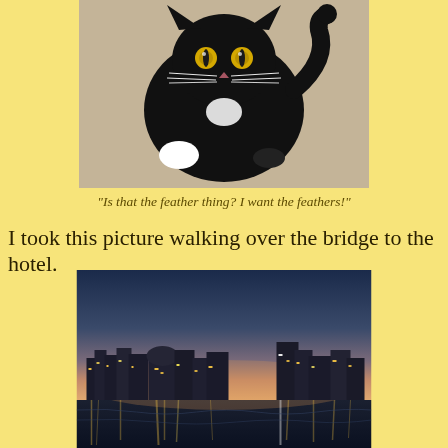[Figure (photo): A black cat with yellow eyes and white paws looking up at the camera from above, sitting on a light-colored carpet.]
"Is that the feather thing? I want the feathers!"
I took this picture walking over the bridge to the hotel.
[Figure (photo): A nighttime cityscape with illuminated buildings and their reflections in water, taken from a bridge, with a twilight sky gradient from blue to pink-orange.]